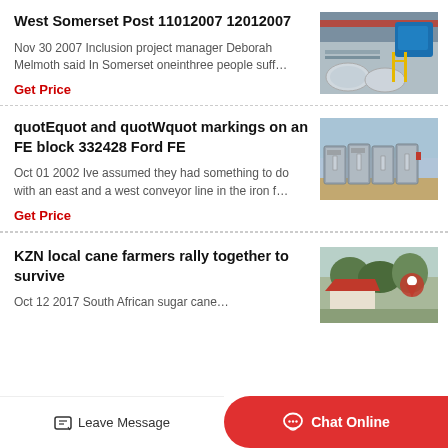West Somerset Post 11012007 12012007
Nov 30 2007 Inclusion project manager Deborah Melmoth said In Somerset oneinthree people suff…
Get Price
[Figure (photo): Industrial machinery with blue equipment and large cylindrical rolls in a factory setting]
quotEquot and quotWquot markings on an FE block 332428 Ford FE
Oct 01 2002 Ive assumed they had something to do with an east and a west conveyor line in the iron f…
Get Price
[Figure (photo): Multiple gray industrial electrical cabinet units outdoors in a yard]
KZN local cane farmers rally together to survive
Oct 12 2017 South African sugar cane…
[Figure (photo): Outdoor scene with farm equipment and red roofed structure among trees]
Leave Message   Chat Online